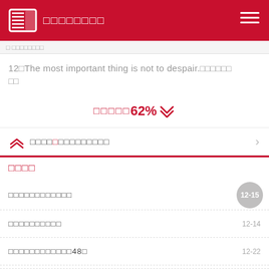□□□□□□□□
12□The most important thing is not to despair.□□□□□□□□□
□□□□□62%□
□□□□□□□□□□□□□
□□□□
□□□□□□□□□□□□  12-15
□□□□□□□□□□  12-14
□□□□□□□□□□□□48□  12-22
□□□□□□□□□□  12-15
2010□□□□□□ □□□□□□□